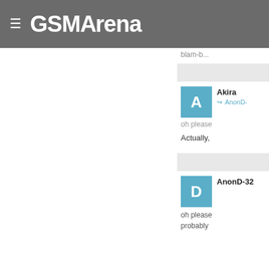≡ GSMArena
blam-b...
Akira
↪ AnonD-...
oh please
Actually,
AnonD-32
oh please
probably